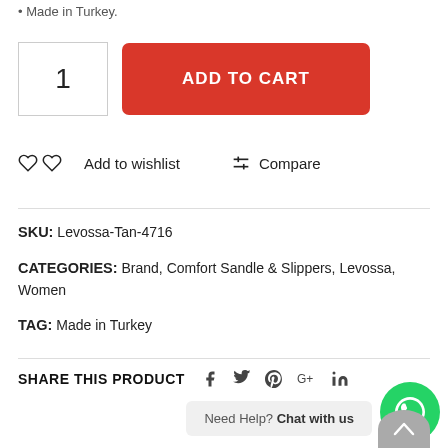• Made in Turkey.
1  ADD TO CART
Add to wishlist   Compare
SKU: Levossa-Tan-4716
CATEGORIES: Brand, Comfort Sandle & Slippers, Levossa, Women
TAG: Made in Turkey
SHARE THIS PRODUCT
Need Help? Chat with us